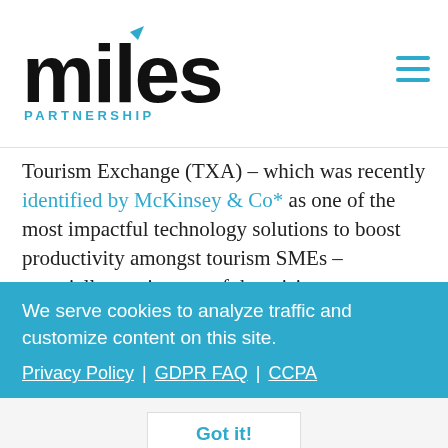[Figure (logo): Miles Partnership logo with blue arrow on the 'i' and blue 'PARTNERSHIP' text below]
Tourism Exchange (TXA) – which was recently identified by McKinsey & Co* as one of the most impactful technology solutions to boost productivity amongst tourism SMEs – especially coming out of the crisis.
Action. New Zealand tourism needs a clearer national strategy and deeper investment in building productivity – from workers to how businesses deploy new technology. Greater investment in worker training, skills & career development, needs to be matched by a relentless focus on solving the problems of seasonality and dispersal. This starts with the foundation of domestic tourism (see #1 in Part 1 of this blog). Like nations such as Ireland, we should seek to build world class digital marketing skills and a
We serve cookies to analyze traffic and customize content on this site.
Privacy Policy | GDPR FAQ | CCPA
Got it!